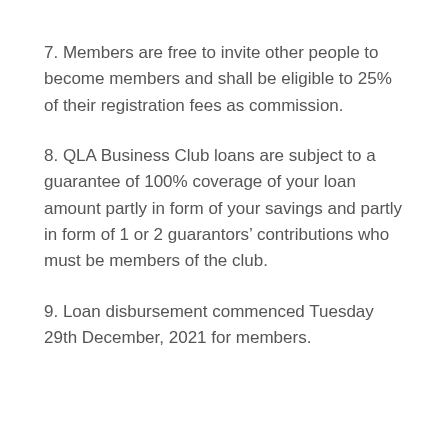7. Members are free to invite other people to become members and shall be eligible to 25% of their registration fees as commission.
8. QLA Business Club loans are subject to a guarantee of 100% coverage of your loan amount partly in form of your savings and partly in form of 1 or 2 guarantors’ contributions who must be members of the club.
9. Loan disbursement commenced Tuesday 29th December, 2021 for members.